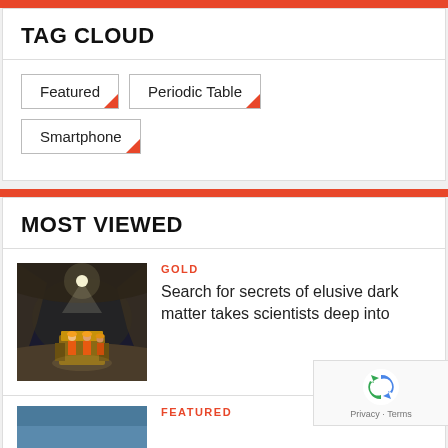TAG CLOUD
Featured
Periodic Table
Smartphone
MOST VIEWED
GOLD
[Figure (photo): Workers with helmets and orange vests in a dark underground mine tunnel]
Search for secrets of elusive dark matter takes scientists deep into
FEATURED